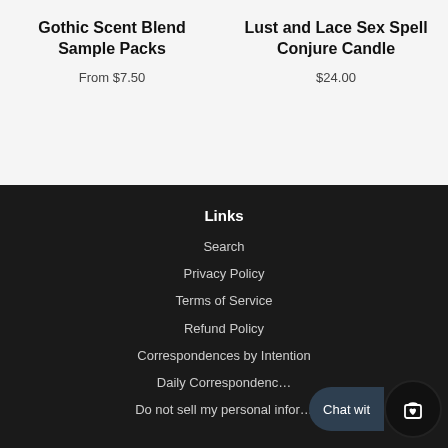Gothic Scent Blend Sample Packs
From $7.50
Lust and Lace Sex Spell Conjure Candle
$24.00
Links
Search
Privacy Policy
Terms of Service
Refund Policy
Correspondences by Intention
Daily Correspondenc…
Do not sell my personal infor…